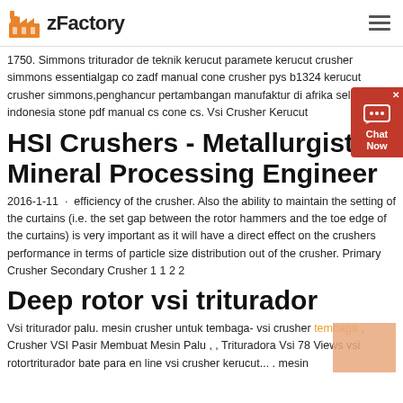zFactory
1750. Simmons triturador de teknik kerucut paramete kerucut crusher simmons essentialgap co zadf manual cone crusher pys b1324 kerucut crusher simmons,penghancur pertambangan manufaktur di afrika selatan indonesia stone pdf manual cs cone cs. Vsi Crusher Kerucut
HSI Crushers - Metallurgist & Mineral Processing Engineer
2016-1-11 · efficiency of the crusher. Also the ability to maintain the setting of the curtains (i.e. the set gap between the rotor hammers and the toe edge of the curtains) is very important as it will have a direct effect on the crushers performance in terms of particle size distribution out of the crusher. Primary Crusher Secondary Crusher 1 1 2 2
Deep rotor vsi triturador
Vsi triturador palu. mesin crusher untuk tembaga- vsi crusher tembaga , Crusher VSI Pasir Membuat Mesin Palu , , Trituradora Vsi 78 Views vsi rotortriturador bate para en line vsi crusher kerucut...